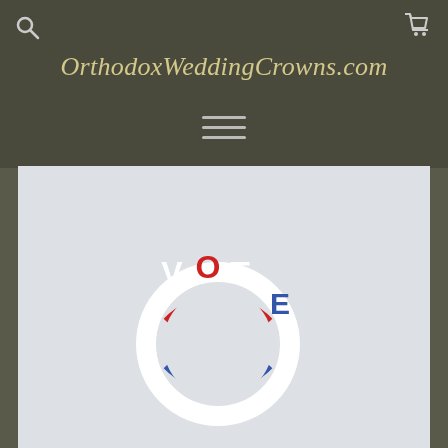OrthodoxWeddingCrowns.com
[Figure (photo): A white plastic ring spelling 'VOTE' with red, white, and blue colors on a light gray background. The ring has the letters V, O, T, E as decorative elements on top, with the band striped in red, white, and blue.]